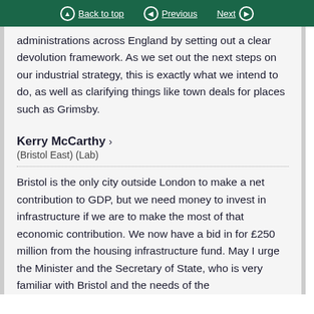Back to top | Previous | Next
administrations across England by setting out a clear devolution framework. As we set out the next steps on our industrial strategy, this is exactly what we intend to do, as well as clarifying things like town deals for places such as Grimsby.
Kerry McCarthy > (Bristol East) (Lab)
Bristol is the only city outside London to make a net contribution to GDP, but we need money to invest in infrastructure if we are to make the most of that economic contribution. We now have a bid in for £250 million from the housing infrastructure fund. May I urge the Minister and the Secretary of State, who is very familiar with Bristol and the needs of the